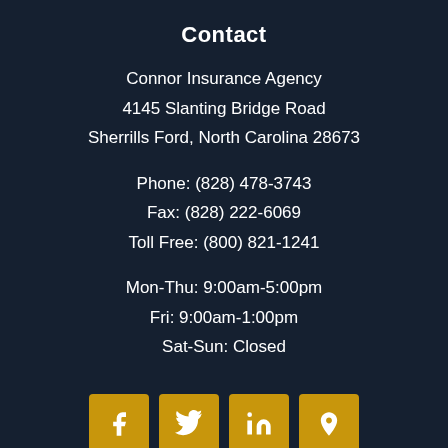Contact
Connor Insurance Agency
4145 Slanting Bridge Road
Sherrills Ford, North Carolina 28673
Phone: (828) 478-3743
Fax: (828) 222-6069
Toll Free: (800) 821-1241
Mon-Thu: 9:00am-5:00pm
Fri: 9:00am-1:00pm
Sat-Sun: Closed
[Figure (other): Social media icons: Facebook, Twitter, LinkedIn, Location/Map marker — gold square buttons with white icons]